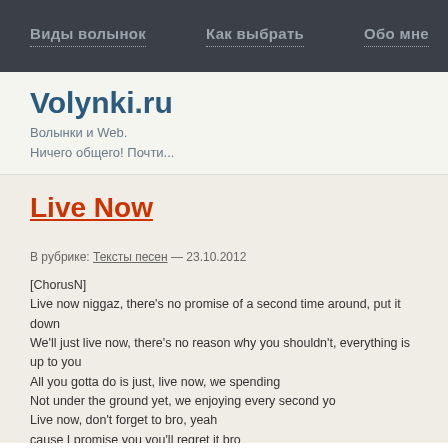Виды волынок  Как выбрать  Обо мне
Volynki.ru
Волынки и Web.
Ничего общего! Почти...
Live Now
В рубрике: Тексты песен — 23.10.2012
[ChorusN]
Live now niggaz, there's no promise of a second time around, put it down
We'll just live now, there's no reason why you shouldn't, everything is up to you
All you gotta do is just, live now, we spending
Not under the ground yet, we enjoying every second yo
Live now, don't forget to bro, yeah
cause I promise you you'll regret it bro

Picture my last days will be so grim
My daughter at my bedside, respirator in me